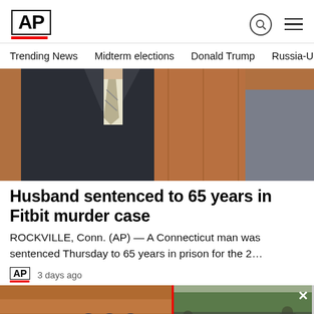AP
Trending News
Midterm elections
Donald Trump
Russia-Ukr
[Figure (photo): Man in dark suit and light tie, courtroom or formal setting]
Husband sentenced to 65 years in Fitbit murder case
ROCKVILLE, Conn. (AP) — A Connecticut man was sentenced Thursday to 65 years in prison for the 2...
3 days ago
[Figure (photo): NSO Group building sign with logo]
[Figure (photo): Car blast kills - video overlay showing soldiers on street]